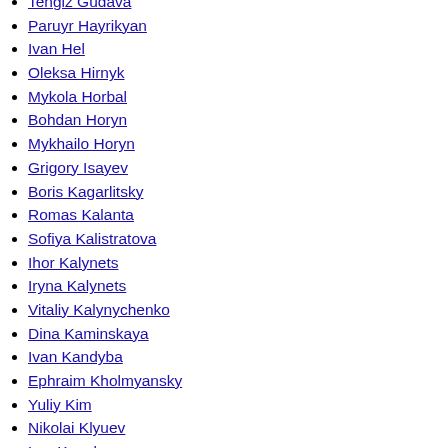Tengiz Gudava
Paruyr Hayrikyan
Ivan Hel
Oleksa Hirnyk
Mykola Horbal
Bohdan Horyn
Mykhailo Horyn
Grigory Isayev
Boris Kagarlitsky
Romas Kalanta
Sofiya Kalistratova
Ihor Kalynets
Iryna Kalynets
Vitaliy Kalynychenko
Dina Kaminskaya
Ivan Kandyba
Ephraim Kholmyansky
Yuliy Kim
Nikolai Klyuev
Lev Kopelev
Boris Korczak
Anatoly Koryagin
Nahum Korzhavin
Merab Kostava
Lina Kostenko